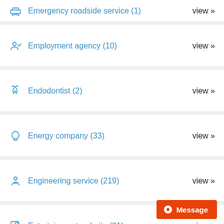Emergency roadside service (1) — view »
Employment agency (10) — view »
Endodontist (2) — view »
Energy company (33) — view »
Engineering service (219) — view »
Entertainment website (21) — view »